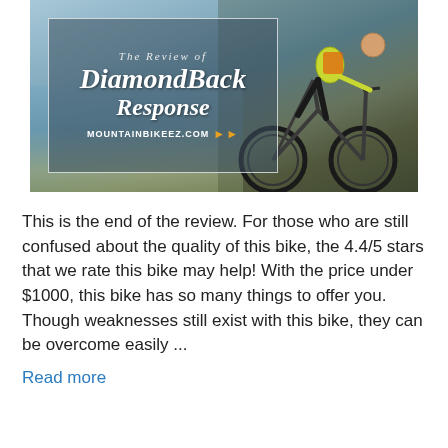[Figure (photo): Hero image showing a mountain biker (wearing yellow jersey and dark shorts) riding a mountain bike, overlaid with a frosted semi-transparent box containing the text 'The Review of DiamondBack Response MOUNTAINBIKEEZ.COM' with orange chevron arrows. Background shows a lake and sky.]
This is the end of the review. For those who are still confused about the quality of this bike, the 4.4/5 stars that we rate this bike may help! With the price under $1000, this bike has so many things to offer you. Though weaknesses still exist with this bike, they can be overcome easily ...
Read more